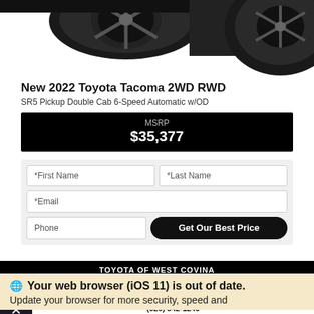[Figure (photo): Partial photo of a black Toyota Tacoma truck showing front wheel and undercarriage on white background]
New 2022 Toyota Tacoma 2WD RWD
SR5 Pickup Double Cab 6-Speed Automatic w/OD
MSRP
$35,377
*First Name
*Last Name
*Email
Phone
Get Our Best Price
TOYOTA OF WEST COVINA
Your web browser (iOS 11) is out of date.
Update your browser for more security, speed and
TEXT SALES TEAM
(626) 542-1240